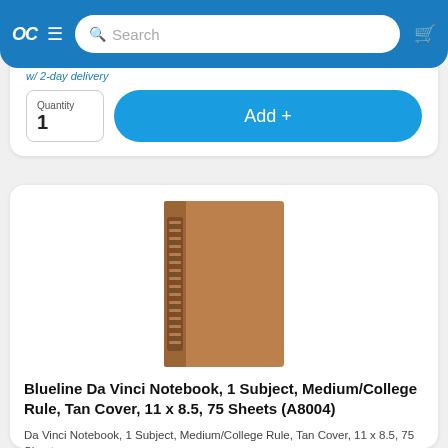OC [logo] Search [cart]
w/ 2-day delivery
Quantity
1
Add +
[Figure (photo): Tan leather-look hardcover notebook (Blueline Da Vinci), portrait orientation, with decorative border strip near the spine.]
Blueline Da Vinci Notebook, 1 Subject, Medium/College Rule, Tan Cover, 11 x 8.5, 75 Sheets (A8004)
Da Vinci Notebook, 1 Subject, Medium/College Rule, Tan Cover, 11 x 8.5, 75 Sheet
Model: A8004